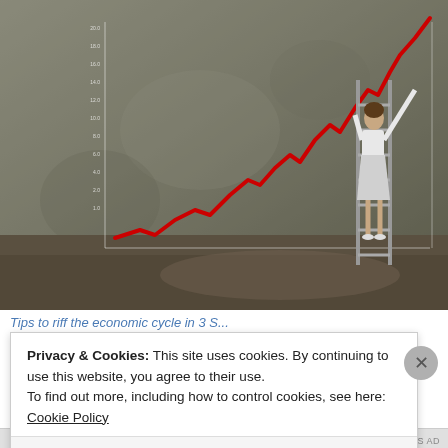[Figure (photo): Businesswoman in white suit standing on a ladder against a concrete wall, drawing or pinning a bold red upward-trending stock market line chart with a zigzag pattern. The chart has a y-axis with numeric labels on the left side against the grey concrete wall background.]
Tips to riff the economic cycle in 3 S...
Privacy & Cookies: This site uses cookies. By continuing to use this website, you agree to their use.
To find out more, including how to control cookies, see here: Cookie Policy
Close and accept